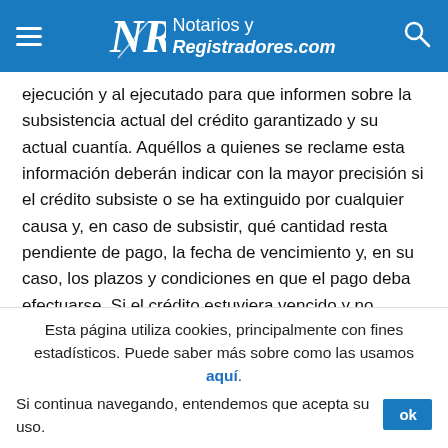Notarios y Registradores.com
ejecución y al ejecutado para que informen sobre la subsistencia actual del crédito garantizado y su actual cuantía. Aquéllos a quienes se reclame esta información deberán indicar con la mayor precisión si el crédito subsiste o se ha extinguido por cualquier causa y, en caso de subsistir, qué cantidad resta pendiente de pago, la fecha de vencimiento y, en su caso, los plazos y condiciones en que el pago deba efectuarse. Si el crédito estuviera vencido y no pagado, se informará también de los intereses moratorios vencidos y de la cantidad a la que asciendan los intereses que se devenguen por cada día de retraso. Cuando la preferencia resulte de una anotación de embargo anterior, se expresarán
Esta página utiliza cookies, principalmente con fines estadísticos. Puede saber más sobre como las usamos aquí. Si continua navegando, entendemos que acepta su uso.